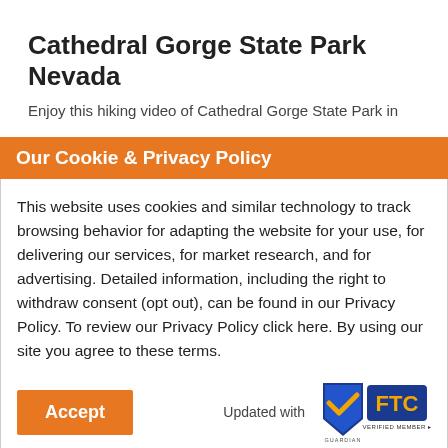Cathedral Gorge State Park Nevada
Enjoy this hiking video of Cathedral Gorge State Park in
Our Cookie & Privacy Policy
This website uses cookies and similar technology to track browsing behavior for adapting the website for your use, for delivering our services, for market research, and for advertising. Detailed information, including the right to withdraw consent (opt out), can be found in our Privacy Policy. To review our Privacy Policy click here. By using our site you agree to these terms.
[Figure (logo): Accept button (orange) and FTC Guardian Verified Member badge with logo]